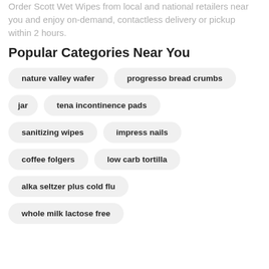Order Scott Wet Wipes from local and national retailers near you and enjoy on-demand, contactless delivery or pickup within 2 hours.
Popular Categories Near You
nature valley wafer
progresso bread crumbs
jar
tena incontinence pads
sanitizing wipes
impress nails
coffee folgers
low carb tortilla
alka seltzer plus cold flu
whole milk lactose free